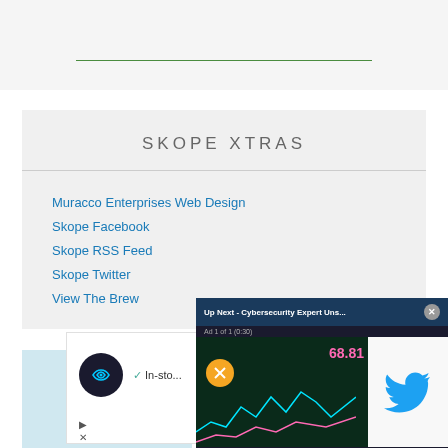SKOPE XTRAS
Muracco Enterprises Web Design
Skope Facebook
Skope RSS Feed
Skope Twitter
View The Brew
[Figure (screenshot): Video overlay popup: Up Next - Cybersecurity Expert Uns... with a close button, Ad 1 of 1 (0:30), showing a stock chart with pink price 68.81 on the left and a Twitter bird logo on a phone on the right]
[Figure (screenshot): Advertisement with a dark circular logo with chain-link icon and text 'In-sto...' with a checkmark]